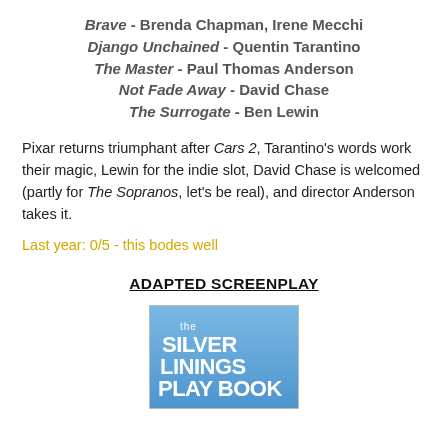Brave - Brenda Chapman, Irene Mecchi
Django Unchained - Quentin Tarantino
The Master - Paul Thomas Anderson
Not Fade Away - David Chase
The Surrogate - Ben Lewin
Pixar returns triumphant after Cars 2, Tarantino's words work their magic, Lewin for the indie slot, David Chase is welcomed (partly for The Sopranos, let's be real), and director Anderson takes it.
Last year: 0/5 - this bodes well
ADAPTED SCREENPLAY
[Figure (illustration): Book cover for 'The Silver Linings Play Book' with white text on a blue background]